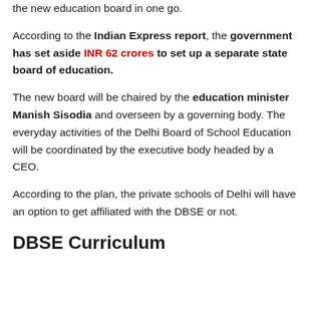the new education board in one go.
According to the Indian Express report, the government has set aside INR 62 crores to set up a separate state board of education.
The new board will be chaired by the education minister Manish Sisodia and overseen by a governing body. The everyday activities of the Delhi Board of School Education will be coordinated by the executive body headed by a CEO.
According to the plan, the private schools of Delhi will have an option to get affiliated with the DBSE or not.
DBSE Curriculum